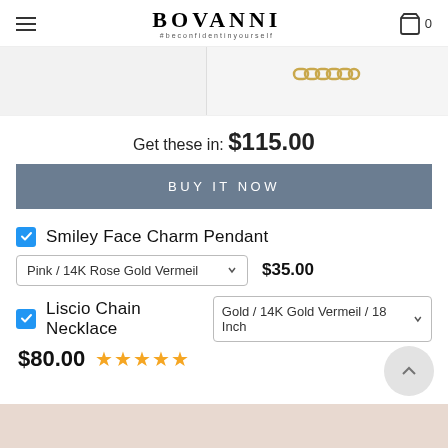BOVANNI #beconfidentinyourself
[Figure (photo): Two product images: left is blank/empty product thumbnail, right shows a gold chain link necklace close-up]
Get these in: $115.00
BUY IT NOW
Smiley Face Charm Pendant — Pink / 14K Rose Gold Vermeil — $35.00
Liscio Chain Necklace — Gold / 14K Gold Vermeil / 18 Inch — $80.00 ★★★★★